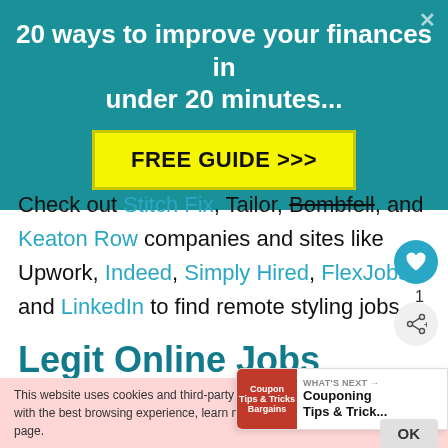[Figure (infographic): Teal banner advertisement: '20 ways to improve your finances in under 20 minutes...' with a yellow FREE GUIDE >>> button and a close X in the top right corner.]
Check out Stitch Fix, Tailor, Bombfell, and Keaton Row companies and sites like Upwork, Indeed, Simply Hired, FlexJobs, and LinkedIn to find remote styling jobs.
Legit Online Jobs
This website uses cookies and third-party services to provide you with the best browsing experience, learn more on the disclaimer page.